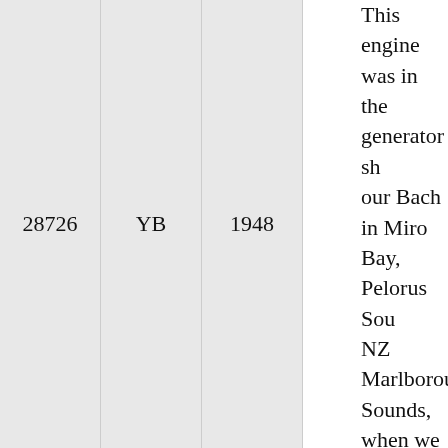| ID | Type | Year |
| --- | --- | --- |
| 28726 | YB | 1948 |
This engine was in the generator shed of our Bach in Miro Bay, Pelorus Sound, NZ Marlborough Sounds, when we bought the Bach in 1998. It was harnessed to a 1935 Belfast Alternator to produce electricity because this area of the sounds is "Off the grid". We got it running again and making power until about 2006. We still start it from time to time so it remembers how to go. The story locally is that it lay for years, in long grass in another part of the bay, until the previous owner of our Bach made a bet over some beers that he could get it running. The then owner apparently said," If you can get it running you can have it". No-one seems to know much prior to that but the engine was previously in agriculture and milling. Lots of Marlborough Sounds properties generated their power from diesel generators. I have a fairly new alternator I am intending to use it to drive. It can be crank started but we have usually started it using a Pelton Wheel off the creek.